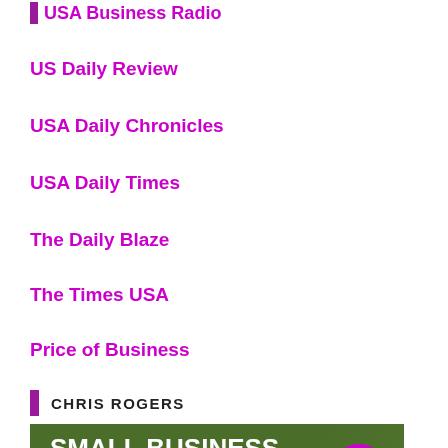USA Business Radio
US Daily Review
USA Daily Chronicles
USA Daily Times
The Daily Blaze
The Times USA
Price of Business
CHRIS ROGERS
[Figure (illustration): Green banner image with white bold text reading SMALL BUSINESS SEO BOOTCAMP WITH CHRIS ROGERS, with a magenta circle button with an upward chevron arrow on the right side]